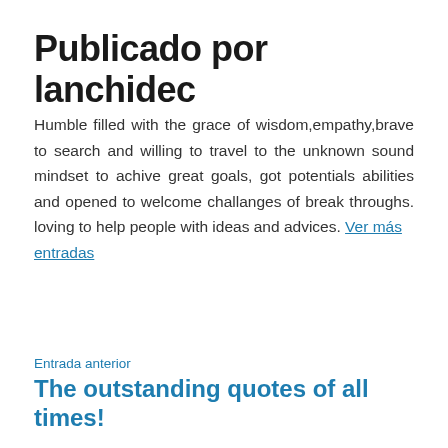Publicado por lanchidec
Humble filled with the grace of wisdom,empathy,brave to search and willing to travel to the unknown sound mindset to achive great goals, got potentials abilities and opened to welcome challanges of break throughs. loving to help people with ideas and advices. Ver más entradas
Entrada anterior
The outstanding quotes of all times!